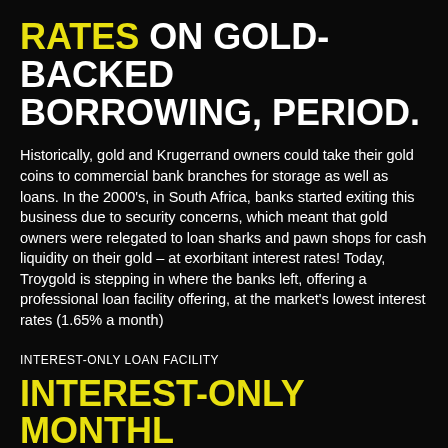RATES ON GOLD-BACKED BORROWING, PERIOD.
Historically, gold and Krugerrand owners could take their gold coins to commercial bank branches for storage as well as loans. In the 2000's, in South Africa, banks started exiting this business due to security concerns, which meant that gold owners were relegated to loan sharks and pawn shops for cash liquidity on their gold – at exorbitant interest rates! Today, Troygold is stepping in where the banks left, offering a professional loan facility offering, at the market's lowest interest rates (1.65% a month)
INTEREST-ONLY LOAN FACILITY
INTEREST-ONLY MONTHLY REPAYMENTS – COMBINING FINANCIAL FREEDOM WITH